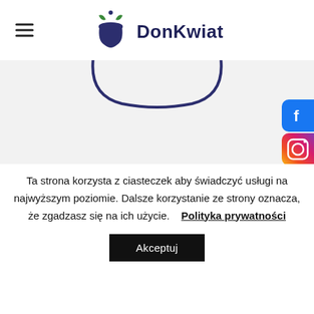DonKwiat
[Figure (logo): DonKwiat logo: a dark blue pot with green plant leaves on top, next to bold dark blue text 'DonKwiat']
[Figure (illustration): Partial view of DonKwiat logo pot shape (bottom arc of pot) on light grey background, with Facebook and Instagram social media icons on the right side]
Ta strona korzysta z ciasteczek aby świadczyć usługi na najwyższym poziomie. Dalsze korzystanie ze strony oznacza, że zgadzasz się na ich użycie.
Polityka prywatności
Akceptuj